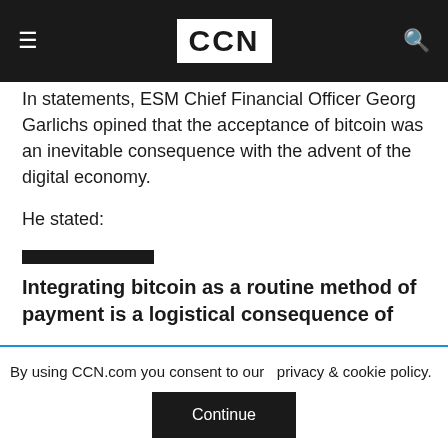CCN
In statements, ESM Chief Financial Officer Georg Garlichs opined that the acceptance of bitcoin was an inevitable consequence with the advent of the digital economy.
He stated:
Integrating bitcoin as a routine method of payment is a logistical consequence of
By using CCN.com you consent to our privacy & cookie policy.
Continue